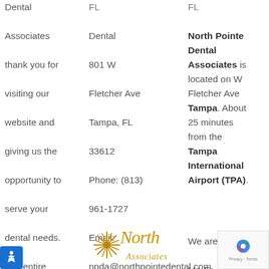Dental Associates thank you for visiting our website and giving us the opportunity to serve your dental needs. Our entire dentistry team here in Tampa
FL

Dental

801 W

Fletcher Ave

Tampa, FL

33612

Phone: (813)

961-1727

Email:

npda@northpointedental.com

northpointedental.com
North Pointe Dental Associates is located on W Fletcher Ave Tampa. About 25 minutes from the Tampa International Airport (TPA).
We are open :

Mo-Fr

5pm
[Figure (logo): North Pointe Dental Associates logo with star and script text]